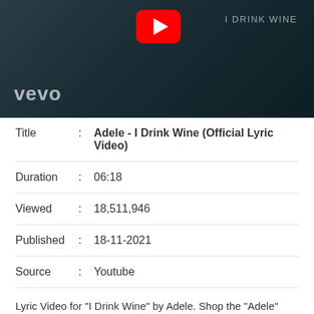[Figure (screenshot): YouTube/Vevo video thumbnail showing Adele's profile in dark teal tones with Vevo logo bottom-left, YouTube play button icon top-center, and 'I DRINK WINE' text top-right]
| Title | : | Adele - I Drink Wine (Official Lyric Video) |
| Duration | : | 06:18 |
| Viewed | : | 18,511,946 |
| Published | : | 18-11-2021 |
| Source | : | Youtube |
Lyric Video for "I Drink Wine" by Adele. Shop the "Adele" collection here: shop.adele.com/ Listen to "30" here: www.adele.com/ Follow Adele: Facebook - www.facebook.com/Adele Twitter - twitter.com/Adele Instagram - instagram.com/Adele Lyrics How can one